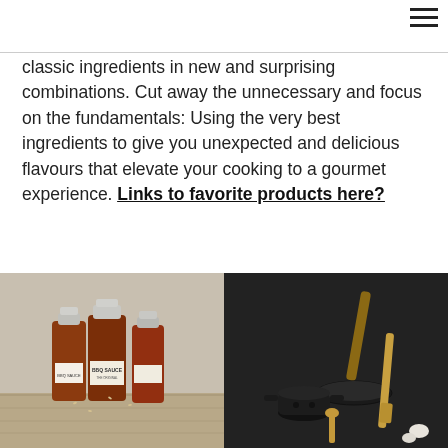classic ingredients in new and surprising combinations. Cut away the unnecessary and focus on the fundamentals: Using the very best ingredients to give you unexpected and delicious flavours that elevate your cooking to a gourmet experience. Links to favorite products here?
[Figure (photo): Three BBQ sauce bottles with white caps and labels on a wooden surface]
[Figure (photo): Black cooking pan, black pot, wooden spatula and spoon on dark background]